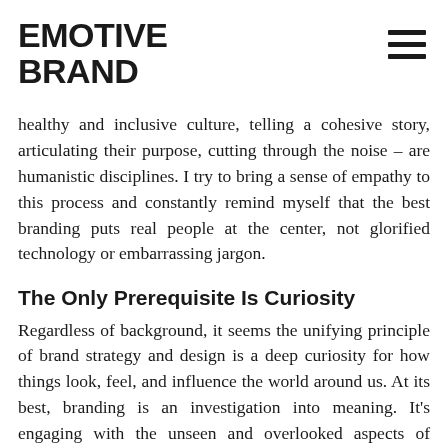EMOTIVE BRAND
healthy and inclusive culture, telling a cohesive story, articulating their purpose, cutting through the noise – are humanistic disciplines. I try to bring a sense of empathy to this process and constantly remind myself that the best branding puts real people at the center, not glorified technology or embarrassing jargon.
The Only Prerequisite Is Curiosity
Regardless of background, it seems the unifying principle of brand strategy and design is a deep curiosity for how things look, feel, and influence the world around us. At its best, branding is an investigation into meaning. It's engaging with the unseen and overlooked aspects of business, products, and experience. If you're interested creative problem-solving, design-thinking, or the intricacies of brand